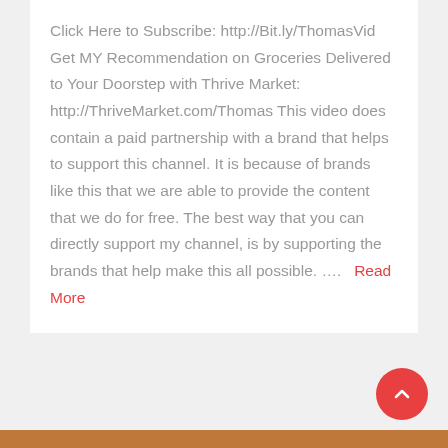Click Here to Subscribe: http://Bit.ly/ThomasVid Get MY Recommendation on Groceries Delivered to Your Doorstep with Thrive Market: http://ThriveMarket.com/Thomas This video does contain a paid partnership with a brand that helps to support this channel. It is because of brands like this that we are able to provide the content that we do for free. The best way that you can directly support my channel, is by supporting the brands that help make this all possible. ....  Read More